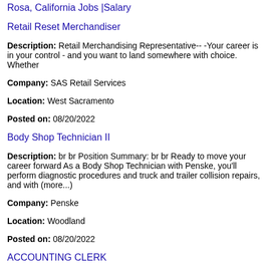Rosa, California Jobs |Salary
Retail Reset Merchandiser
Description: Retail Merchandising Representative-- -Your career is in your control - and you want to land somewhere with choice. Whether
Company: SAS Retail Services
Location: West Sacramento
Posted on: 08/20/2022
Body Shop Technician II
Description: br br Position Summary: br br Ready to move your career forward As a Body Shop Technician with Penske, you'll perform diagnostic procedures and truck and trailer collision repairs, and with (more...)
Company: Penske
Location: Woodland
Posted on: 08/20/2022
ACCOUNTING CLERK
Description: ACCOUNTING CLERK - PrideStaff Financial is looking
Company: PrideStaff
Location: West Sacramento
Posted on: 08/20/2022